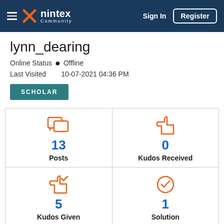Nintex Community — Sign In | Register
lynn_dearing
Online Status ● Offline
Last Visited   10-07-2021 04:36 PM
SCHOLAR
| Posts | Kudos Received | Kudos Given | Solution |
| --- | --- | --- | --- |
| 13 | 0 |
| 5 | 1 |